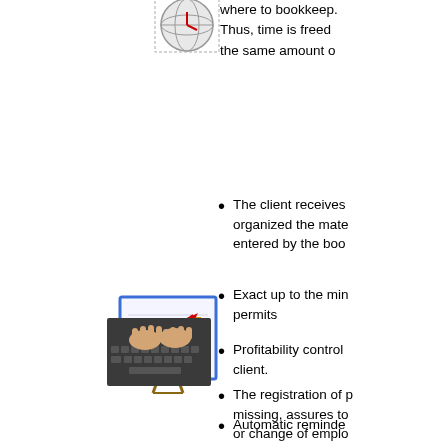where to bookkeep. Thus, time is freed the same amount o
[Figure (illustration): Globe/clock icon illustration at top]
[Figure (illustration): Bar chart with upward trend arrow on easel/presentation board icon]
The client receives organized the mate entered by the boo
The registration of p missing, assures to or change of emplo
Exact up to the min permits
[Figure (photo): Hands typing on a keyboard photo]
Profitability control client.
Automatic reminde